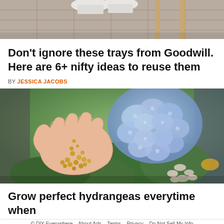[Figure (photo): Top portion of a lifestyle/home decor photo showing wooden furniture legs and white sneakers on tile flooring]
Don't ignore these trays from Goodwill. Here are 6+ nifty ideas to reuse them
BY JESSICA JACOBS
[Figure (photo): A hand holding small yellow seeds with a blue hydrangea flower and green leaves in the background]
Grow perfect hydrangeas everytime when
© DIY Everywhere   About Ads   Terms   Privacy   Do Not Sell My Info